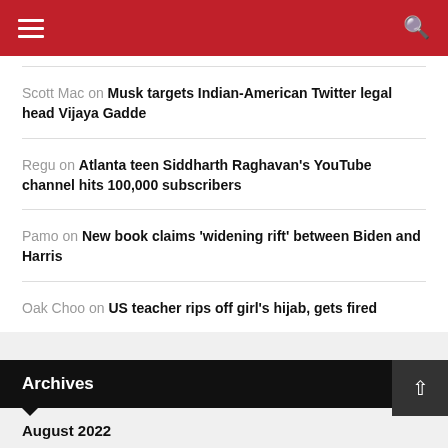Navigation header with hamburger menu and search icon
Scott Mac on Musk targets Indian-American Twitter legal head Vijaya Gadde
Regu on Atlanta teen Siddharth Raghavan's YouTube channel hits 100,000 subscribers
Pamo on New book claims 'widening rift' between Biden and Harris
Oak Choo on US teacher rips off girl's hijab, gets fired
Archives
August 2022